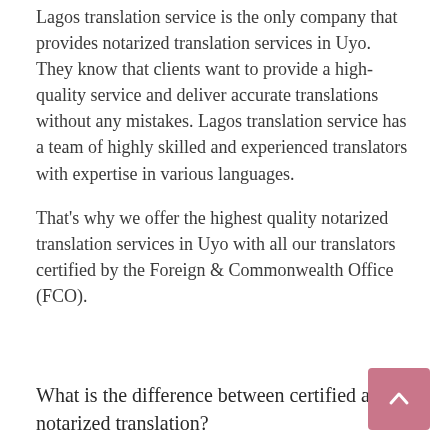Lagos translation service is the only company that provides notarized translation services in Uyo. They know that clients want to provide a high-quality service and deliver accurate translations without any mistakes. Lagos translation service has a team of highly skilled and experienced translators with expertise in various languages.
That's why we offer the highest quality notarized translation services in Uyo with all our translators certified by the Foreign & Commonwealth Office (FCO).
What is the difference between certified and notarized translation?
There are two kinds of translation- certified and notarized. Certified translations are done by the translator himself, while notarized translations are done by an official